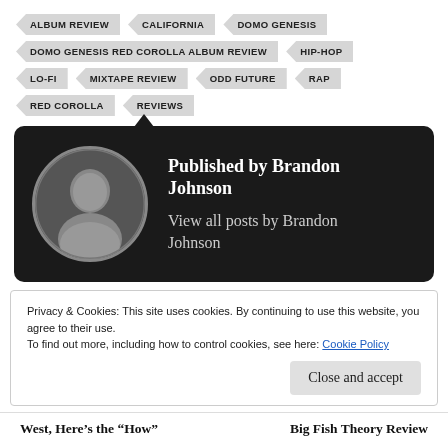ALBUM REVIEW
CALIFORNIA
DOMO GENESIS
DOMO GENESIS RED COROLLA ALBUM REVIEW
HIP-HOP
LO-FI
MIXTAPE REVIEW
ODD FUTURE
RAP
RED COROLLA
REVIEWS
Published by Brandon Johnson
View all posts by Brandon Johnson
Privacy & Cookies: This site uses cookies. By continuing to use this website, you agree to their use.
To find out more, including how to control cookies, see here: Cookie Policy
Close and accept
West, Here’s the “How”
Big Fish Theory Review